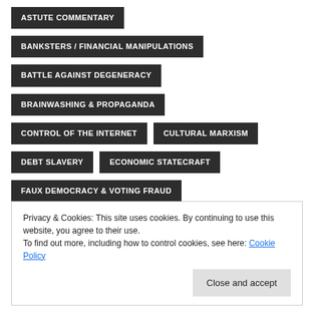ASTUTE COMMENTARY
BANKSTERS / FINANCIAL MANIPULATIONS
BATTLE AGAINST DEGENERACY
BRAINWASHING & PROPAGANDA
CONTROL OF THE INTERNET
CULTURAL MARXISM
DEBT SLAVERY
ECONOMIC STATECRAFT
FAUX DEMOCRACY & VOTING FRAUD
FIGHT CLUB MEMES & TACTICS
Privacy & Cookies: This site uses cookies. By continuing to use this website, you agree to their use.
To find out more, including how to control cookies, see here: Cookie Policy
Close and accept